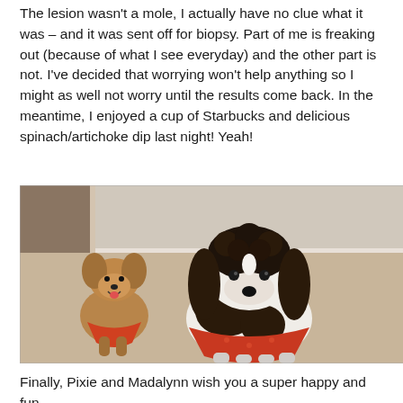The lesion wasn't a mole, I actually have no clue what it was – and it was sent off for biopsy. Part of me is freaking out (because of what I see everyday) and the other part is not. I've decided that worrying won't help anything so I might as well not worry until the results come back. In the meantime, I enjoyed a cup of Starbucks and delicious spinach/artichoke dip last night! Yeah!
[Figure (photo): Two dogs sitting on a beige carpet in front of a door. A small Yorkshire Terrier on the left and a larger black and white Spaniel on the right, both wearing orange bandanas/scarves.]
Finally, Pixie and Madalynn wish you a super happy and fun-